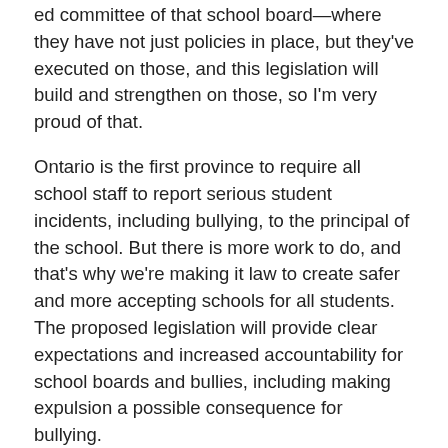ed committee of that school board—where they have not just policies in place, but they've executed on those, and this legislation will build and strengthen on those, so I'm very proud of that.
Ontario is the first province to require all school staff to report serious student incidents, including bullying, to the principal of the school. But there is more work to do, and that's why we're making it law to create safer and more accepting schools for all students. The proposed legislation will provide clear expectations and increased accountability for school boards and bullies, including making expulsion a possible consequence for bullying.
One of the things, Speaker, I like about this bill is that it recognizes all of the key people involved in bullying issues: the bully, the witnesses, the bystanders, the staff—all the people affected—the victims. We speak to supports for everyone involved because we can't address a serious issue if you don't have the sufficient resources to do so.